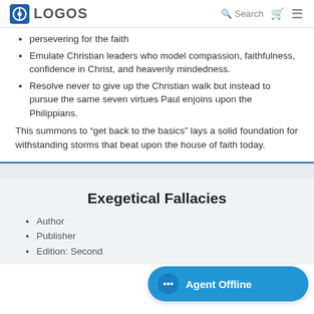LOGOS | Search
persevering for the faith
Emulate Christian leaders who model compassion, faithfulness, confidence in Christ, and heavenly mindedness.
Resolve never to give up the Christian walk but instead to pursue the same seven virtues Paul enjoins upon the Philippians.
This summons to “get back to the basics” lays a solid foundation for withstanding storms that beat upon the house of faith today.
Exegetical Fallacies
Author
Publisher
Edition: Second